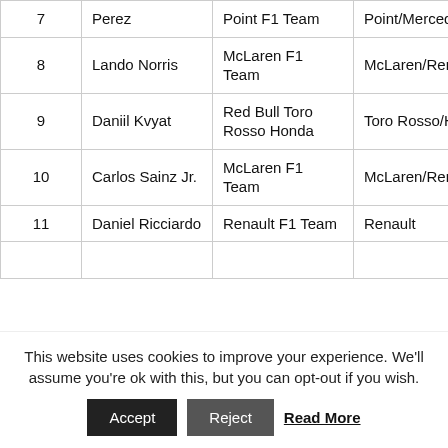|  | Driver | Team | Car | Gap |
| --- | --- | --- | --- | --- |
| 7 | Perez | Point F1 Team | Point/Mercedes | 1 Lap |
| 8 | Lando Norris | McLaren F1 Team | McLaren/Renault | 1 Lap |
| 9 | Daniil Kvyat | Red Bull Toro Rosso Honda | Toro Rosso/Honda | 1 Lap |
| 10 | Carlos Sainz Jr. | McLaren F1 Team | McLaren/Renault | 1 Lap |
| 11 | Daniel Ricciardo | Renault F1 Team | Renault | 1 Lap |
This website uses cookies to improve your experience. We'll assume you're ok with this, but you can opt-out if you wish.